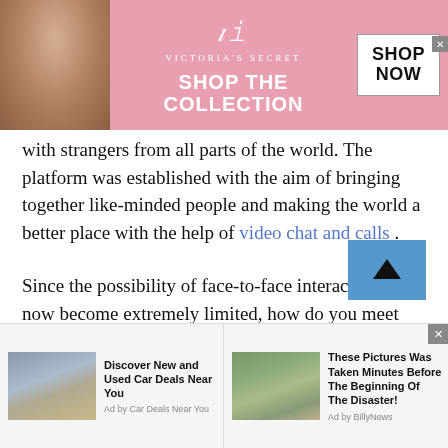[Figure (photo): Victoria's Secret advertisement banner with a model on the left, the VS logo and 'SHOP THE COLLECTION' text in the center on a pink background, and a 'SHOP NOW' button on the right.]
with strangers from all parts of the world. The platform was established with the aim of bringing together like-minded people and making the world a better place with the help of video chat and calls .
Since the possibility of face-to-face interactions has now become extremely limited, how do you meet new people? The era of sitting at a bar and chatting a stranger up has come to an end. Partly because of the pandemic but mostly because of the introduction of video conferencing applications that allow you to communicate with
[Figure (other): Two bottom advertisement cards: 'Discover New and Used Car Deals Near You' by Car Deals Near You, and 'These Pictures Was Taken Minutes Before The Beginning Of The Disaster!' by BillyNews.]